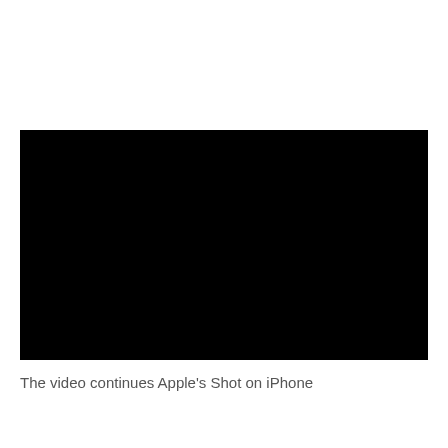[Figure (other): A black rectangle representing a video thumbnail or video player with no visible content]
The video continues Apple's Shot on iPhone